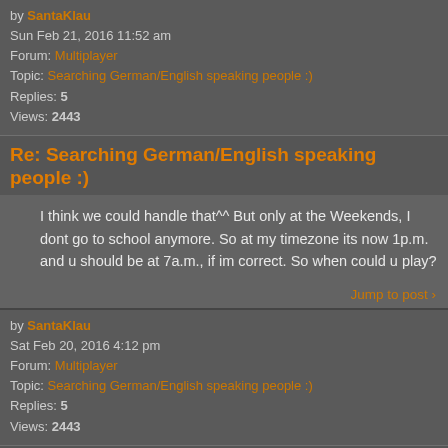by SantaKlau
Sun Feb 21, 2016 11:52 am
Forum: Multiplayer
Topic: Searching German/English speaking people :)
Replies: 5
Views: 2443
Re: Searching German/English speaking people :)
I think we could handle that^^ But only at the Weekends, I dont go to school anymore. So at my timezone its now 1p.m. and u should be at 7a.m., if im correct. So when could u play?
Jump to post >
by SantaKlau
Sat Feb 20, 2016 4:12 pm
Forum: Multiplayer
Topic: Searching German/English speaking people :)
Replies: 5
Views: 2443
Searching German/English speaking people :)
Hey there, im searching for some Players to build a Masterpeace of Base out in the Universe. Wanted to play Vanilla with the latest Experimental Version of the Game. Teamspeak is no problem, the adress is at the End of the Topic. For Multiplayer connection we can use an Hamachi